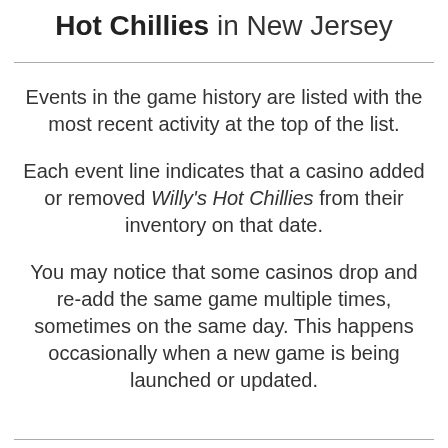Hot Chillies in New Jersey
Events in the game history are listed with the most recent activity at the top of the list.
Each event line indicates that a casino added or removed Willy's Hot Chillies from their inventory on that date.
You may notice that some casinos drop and re-add the same game multiple times, sometimes on the same day. This happens occasionally when a new game is being launched or updated.